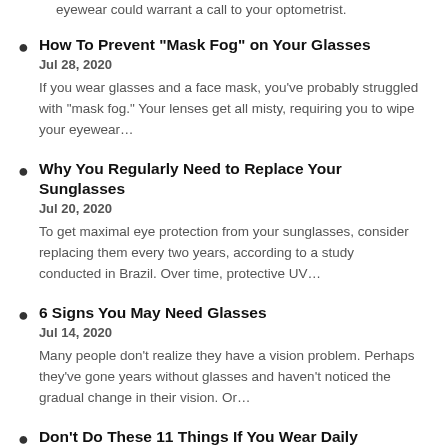eyewear could warrant a call to your optometrist.
How To Prevent “Mask Fog” on Your Glasses
Jul 28, 2020
If you wear glasses and a face mask, you’ve probably struggled with “mask fog.” Your lenses get all misty, requiring you to wipe your eyewear…
Why You Regularly Need to Replace Your Sunglasses
Jul 20, 2020
To get maximal eye protection from your sunglasses, consider replacing them every two years, according to a study conducted in Brazil. Over time, protective UV…
6 Signs You May Need Glasses
Jul 14, 2020
Many people don’t realize they have a vision problem. Perhaps they’ve gone years without glasses and haven’t noticed the gradual change in their vision. Or…
Don’t Do These 11 Things If You Wear Daily Disposable Contacts!
Jun 28, 2020